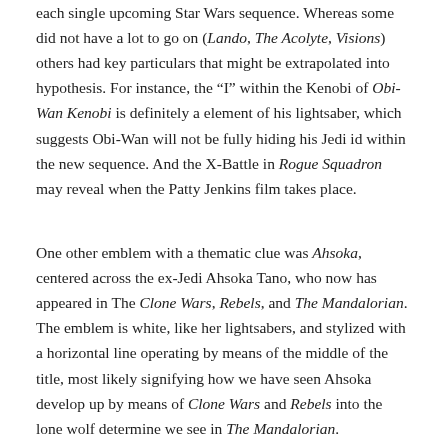each single upcoming Star Wars sequence. Whereas some did not have a lot to go on (Lando, The Acolyte, Visions) others had key particulars that might be extrapolated into hypothesis. For instance, the "I" within the Kenobi of Obi-Wan Kenobi is definitely a element of his lightsaber, which suggests Obi-Wan will not be fully hiding his Jedi id within the new sequence. And the X-Battle in Rogue Squadron may reveal when the Patty Jenkins film takes place.
One other emblem with a thematic clue was Ahsoka, centered across the ex-Jedi Ahsoka Tano, who now has appeared in The Clone Wars, Rebels, and The Mandalorian. The emblem is white, like her lightsabers, and stylized with a horizontal line operating by means of the middle of the title, most likely signifying how we have seen Ahsoka develop up by means of Clone Wars and Rebels into the lone wolf determine we see in The Mandalorian.